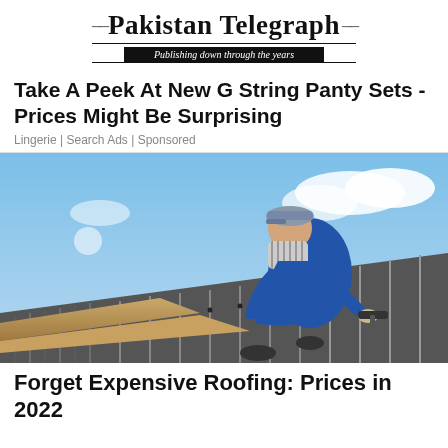Pakistan Telegraph — Publishing down through the years
Take A Peek At New G String Panty Sets - Prices Might Be Surprising
Lingerie | Search Ads | Sponsored
[Figure (photo): A worker in blue overalls and striped shirt wearing a cap, kneeling on a metal roof, using a power drill to fasten metal roofing sheets. Blue sky with clouds in the background.]
Forget Expensive Roofing: Prices in 2022